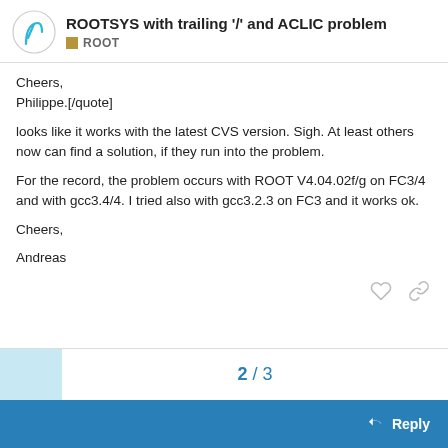ROOTSYS with trailing '/' and ACLIC problem — ROOT
Cheers,
Philippe.[/quote]
looks like it works with the latest CVS version. Sigh. At least others now can find a solution, if they run into the problem.
For the record, the problem occurs with ROOT V4.04.02f/g on FC3/4 and with gcc3.4/4. I tried also with gcc3.2.3 on FC3 and it works ok.
Cheers,

Andreas
2 / 3